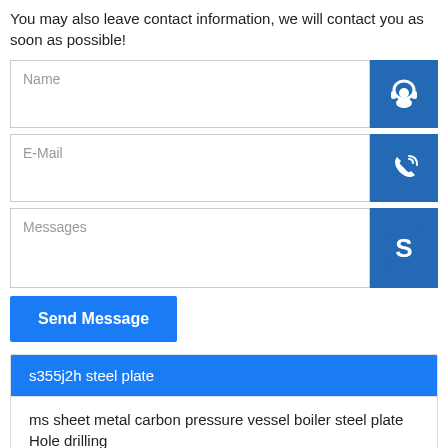You may also leave contact information, we will contact you as soon as possible!
[Figure (screenshot): Contact form with Name, E-Mail, and Messages input fields, icons for customer service, phone, and Skype on the right, and a Send Message button]
s355j2h steel plate
ms sheet metal carbon pressure vessel boiler steel plate Hole drilling
china factory prepainted galvanized steel coil buyer